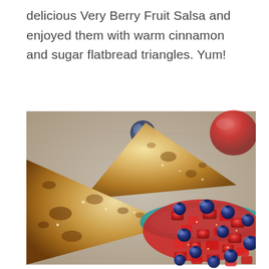delicious Very Berry Fruit Salsa and enjoyed them with warm cinnamon and sugar flatbread triangles. Yum!
[Figure (photo): Close-up photo of golden-brown cinnamon sugar flatbread triangles resting against a teal bowl filled with fresh berry fruit salsa made of chopped strawberries and whole blueberries. Background shows blurred blueberries and a red apple/strawberry on a wooden surface.]